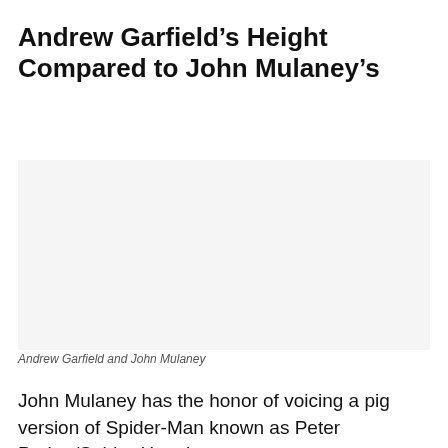Andrew Garfield’s Height Compared to John Mulaney’s
[Figure (photo): Photo of Andrew Garfield and John Mulaney]
Andrew Garfield and John Mulaney
John Mulaney has the honor of voicing a pig version of Spider-Man known as Peter Porker/Spider-Ham in